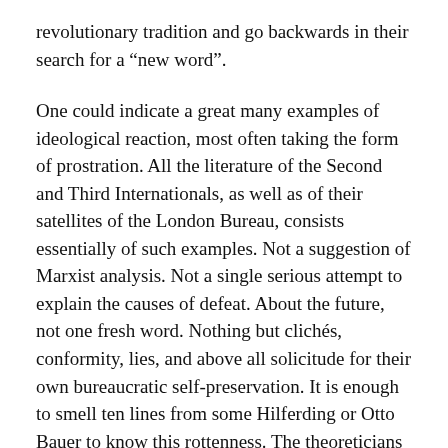revolutionary tradition and go backwards in their search for a “new word”.
One could indicate a great many examples of ideological reaction, most often taking the form of prostration. All the literature of the Second and Third Internationals, as well as of their satellites of the London Bureau, consists essentially of such examples. Not a suggestion of Marxist analysis. Not a single serious attempt to explain the causes of defeat. About the future, not one fresh word. Nothing but clichés, conformity, lies, and above all solicitude for their own bureaucratic self-preservation. It is enough to smell ten lines from some Hilferding or Otto Bauer to know this rottenness. The theoreticians of the Comintern are not even worth mentioning. The famous Dimitrov is as ignorant and commonplace as a shopkeeper over a mug of beer. The minds of these people are too lazy to renounce Marxism: they prostitute it. But it is not they that interest us now. Let us turn to the “innovators”.